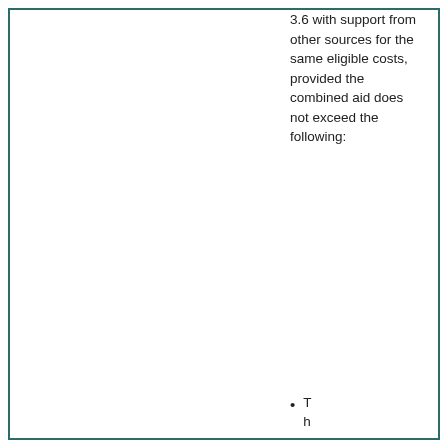3.6 with support from other sources for the same eligible costs, provided the combined aid does not exceed the following:
Th